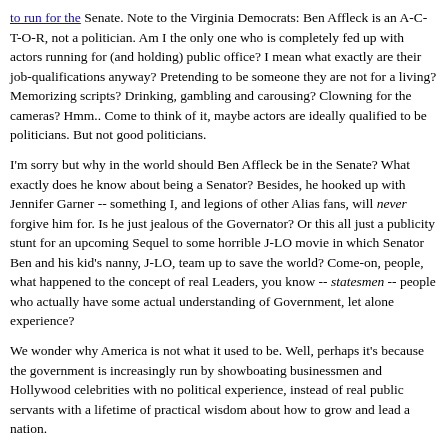to run for the Senate. Note to the Virginia Democrats: Ben Affleck is an A-C-T-O-R, not a politician. Am I the only one who is completely fed up with actors running for (and holding) public office? I mean what exactly are their job-qualifications anyway? Pretending to be someone they are not for a living? Memorizing scripts? Drinking, gambling and carousing? Clowning for the cameras? Hmm.. Come to think of it, maybe actors are ideally qualified to be politicians. But not good politicians.
I'm sorry but why in the world should Ben Affleck be in the Senate? What exactly does he know about being a Senator? Besides, he hooked up with Jennifer Garner -- something I, and legions of other Alias fans, will never forgive him for. Is he just jealous of the Governator? Or this all just a publicity stunt for an upcoming Sequel to some horrible J-LO movie in which Senator Ben and his kid's nanny, J-LO, team up to save the world? Come-on, people, what happened to the concept of real Leaders, you know -- statesmen -- people who actually have some actual understanding of Government, let alone experience?
We wonder why America is not what it used to be. Well, perhaps it's because the government is increasingly run by showboating businessmen and Hollywood celebrities with no political experience, instead of real public servants with a lifetime of practical wisdom about how to grow and lead a nation.
Continue reading "Another Actor Running for Office?" »
Posted on September 27, 2005 at 04:22 PM in Current Affairs, Democracy 2.0, Government, Society | Permalink | TrackBack (0)
Reblog (0)